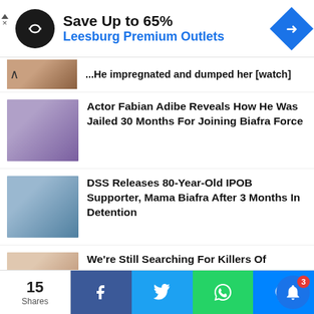[Figure (infographic): Advertisement banner: circular black logo with arrows icon, text 'Save Up to 65%' in black bold, 'Leesburg Premium Outlets' in blue, blue diamond navigation icon on right.]
...He impregnated and dumped her [watch]
Actor Fabian Adibe Reveals How He Was Jailed 30 Months For Joining Biafra Force
DSS Releases 80-Year-Old IPOB Supporter, Mama Biafra After 3 Months In Detention
We're Still Searching For Killers Of Deborah Samuel – Police
15 Shares
[Figure (infographic): Bottom social sharing bar with Facebook, Twitter, WhatsApp, Messenger buttons and notification bell with badge 3]